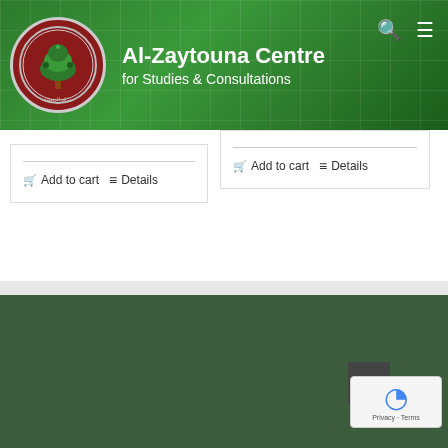Al-Zaytouna Centre for Studies & Consultations
Add to cart   Details
Add to cart   Details
Site Map
Read More
Books
Papers
Palestine Strategic Report
The Palestine Chronicle
Strategic Assessments
Palestine Today Newsletter